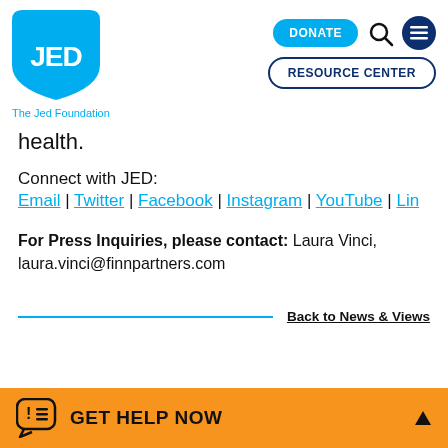[Figure (logo): JED Foundation logo — cyan shield shape with 'JED' text in white]
The Jed Foundation
[Figure (infographic): Navigation buttons: DONATE (cyan pill), search icon, hamburger menu (dark blue circle), RESOURCE CENTER (dark blue outline pill)]
health.
Connect with JED:
Email | Twitter | Facebook | Instagram | YouTube | Lin
For Press Inquiries, please contact: Laura Vinci, laura.vinci@finnpartners.com
Back to News & Views
GET HELP NOW